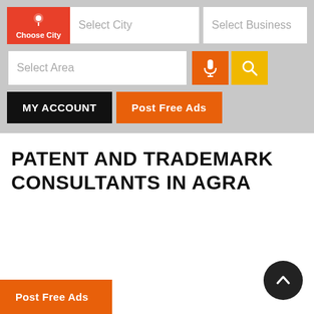[Figure (screenshot): Web app navigation header with Choose City button (red), Select City input, Select Business input, Select Area input, microphone button (orange), search button (yellow), MY ACCOUNT button (black), and Post Free Ads button (orange)]
PATENT AND TRADEMARK CONSULTANTS IN AGRA
Post Free Ads